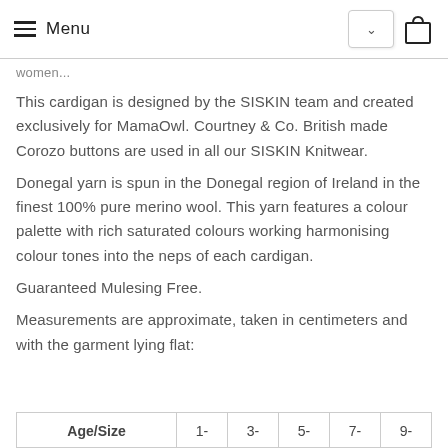Menu
women...
This cardigan is designed by the SISKIN team and created exclusively for MamaOwl. Courtney & Co. British made Corozo buttons are used in all our SISKIN Knitwear.
Donegal yarn is spun in the Donegal region of Ireland in the finest 100% pure merino wool. This yarn features a colour palette with rich saturated colours working harmonising colour tones into the neps of each cardigan.
Guaranteed Mulesing Free.
Measurements are approximate, taken in centimeters and with the garment lying flat:
| Age/Size | 1- | 3- | 5- | 7- | 9- |
| --- | --- | --- | --- | --- | --- |